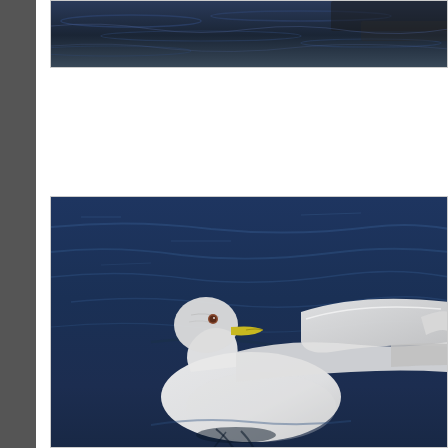[Figure (photo): Top portion of a seagull photo over dark blue water, cropped at top of page]
As the wing begins to fold the
[Figure (photo): A seagull with white plumage and yellow beak floating on dark blue rippling water, wings partially raised]